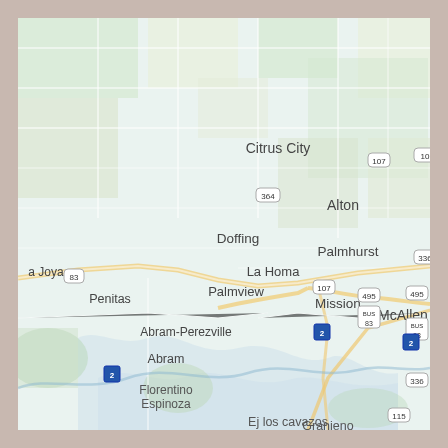[Figure (map): Road map of the Rio Grande Valley area in Texas showing cities including Citrus City, Alton, Doffing, Palmhurst, La Homa, Palmview, Penitas, Abram-Perezville, Abram, Mission, McAllen, Florentino Espinoza, Ej los cavazos, Granjeno, and La Joya. Shows highways 83, 107, 364, 495, 336, 115, 2, and BUS routes.]